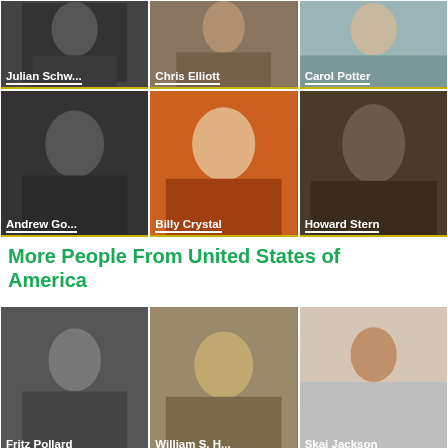[Figure (photo): Photo of Julian Schw... (black and white)]
[Figure (photo): Photo of Chris Elliott]
[Figure (photo): Photo of Carol Potter]
[Figure (photo): Photo of Andrew Go... (black and white)]
[Figure (photo): Photo of Billy Crystal against orange background]
[Figure (photo): Photo of Howard Stern]
More People From United States of America
[Figure (photo): Photo of Fritz Pollard (black and white)]
[Figure (photo): Photo of William S. H... (painting)]
[Figure (photo): Photo of Skai Jackson]